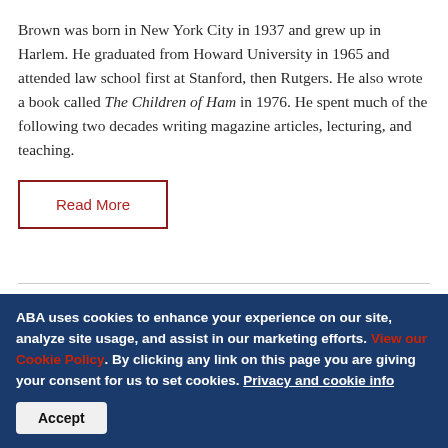Brown was born in New York City in 1937 and grew up in Harlem. He graduated from Howard University in 1965 and attended law school first at Stanford, then Rutgers. He also wrote a book called The Children of Ham in 1976. He spent much of the following two decades writing magazine articles, lecturing, and teaching.
Read More
BOOK SENSE
ABA uses cookies to enhance your experience on our site, analyze site usage, and assist in our marketing efforts. View our Cookie Policy. By clicking any link on this page you are giving your consent for us to set cookies. Privacy and cookie info
Accept